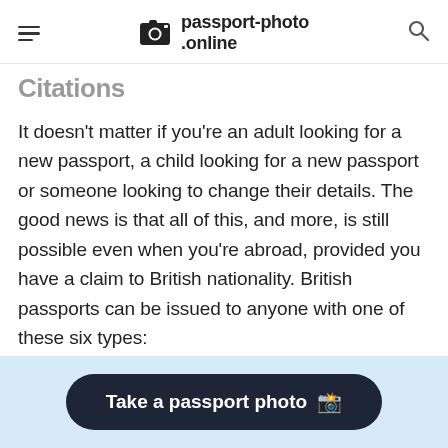passport-photo.online
Citations
It doesn't matter if you're an adult looking for a new passport, a child looking for a new passport or someone looking to change their details. The good news is that all of this, and more, is still possible even when you're abroad, provided you have a claim to British nationality. British passports can be issued to anyone with one of these six types:
1. British Citizenship
[Figure (other): Call-to-action button: Take a passport photo with camera emoji, on a light blue background bar at the bottom of the page.]